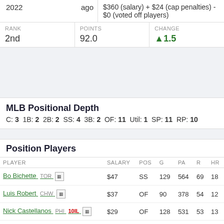2022  ago  $360 (salary) + $24 (cap penalties) - $0 (voted off players)
| RANK | POINTS | CHANGE |
| --- | --- | --- |
| 2nd | 92.0 | ▲1.5 |
MLB Positional Depth
C: 3  1B: 2  2B: 2  SS: 4  3B: 2  OF: 11  Util: 1  SP: 11  RP: 10
Position Players
| PLAYER | SALARY | POS | G | PA | R | HR |
| --- | --- | --- | --- | --- | --- | --- |
| Bo Bichette TOR | $47 | SS | 129 | 564 | 69 | 18 |
| Luis Robert CHW | $37 | OF | 90 | 378 | 54 | 12 |
| Nick Castellanos PHI 10IL | $29 | OF | 128 | 531 | 53 | 13 |
| Randy Arozarena TBR | $21 | OF | 126 | 530 | 59 | 18 |